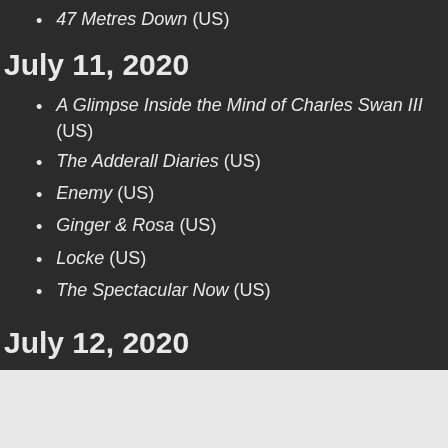47 Metres Down (US)
July 11, 2020
A Glimpse Inside the Mind of Charles Swan III (US)
The Adderall Diaries (US)
Enemy (US)
Ginger & Rosa (US)
Locke (US)
The Spectacular Now (US)
Under the Skin (US)
July 12, 2020